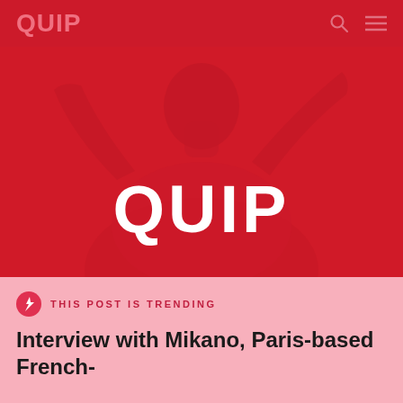QUIP
[Figure (photo): Hero image of a person with arms raised against a red background, with the word QUIP overlaid in large white bold text. Red color wash over the entire image.]
THIS POST IS TRENDING
Interview with Mikano, Paris-based French-